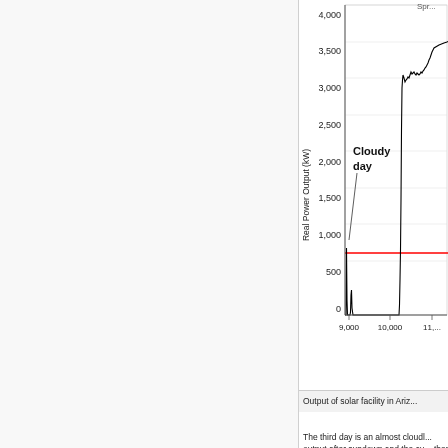[Figure (continuous-plot): Partial view of a line chart showing solar facility real power output (kW) on y-axis (0 to 4,000) vs time index on x-axis (9,000 to 11,000+). A mostly low, irregular black line with a sharp spike near 9,000, then near-zero output, then a large peak approaching 3,000 kW after 10,000. A horizontal red line at ~800 kW is visible. The annotation 'Cloudy day' labels the low-output region. The chart is cropped on the right.]
Output of solar facility in Ariz...
The third day is an almost cloudl... output after sundown and the cu... then falling again until sunset. T...